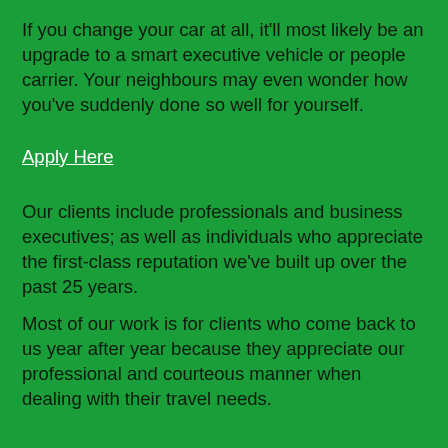If you change your car at all, it'll most likely be an upgrade to a smart executive vehicle or people carrier. Your neighbours may even wonder how you've suddenly done so well for yourself.
Apply Here
Our clients include professionals and business executives; as well as individuals who appreciate the first-class reputation we've built up over the past 25 years.
Most of our work is for clients who come back to us year after year because they appreciate our professional and courteous manner when dealing with their travel needs.